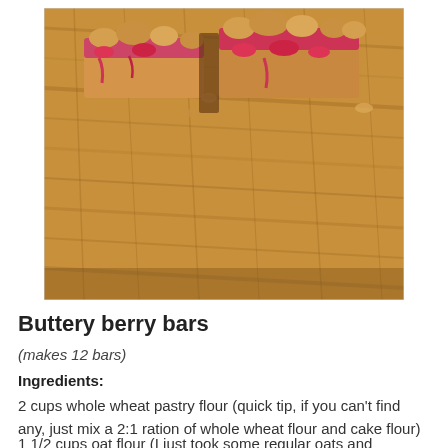[Figure (photo): Overhead photo of buttery berry bars with crumble topping and red berry filling, placed on a wooden cutting board]
Buttery berry bars
(makes 12 bars)
Ingredients:
2 cups whole wheat pastry flour (quick tip, if you can't find any, just mix a 2:1 ration of whole wheat flour and cake flour)
1 1/2 cups oat flour (I just took some regular oats and